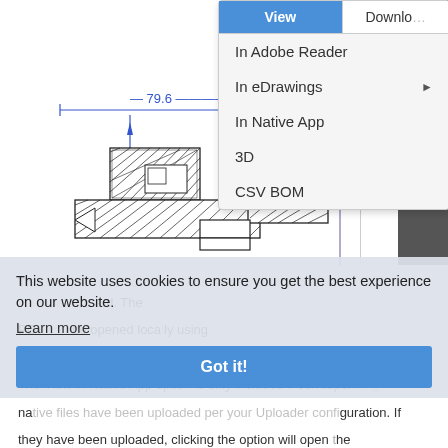[Figure (screenshot): Screenshot of a web interface showing a dropdown menu with options: View (blue button), Download, In Adobe Reader, In eDrawings (with right arrow), In Native App, 3D, CSV BOM. Behind the dropdown is a technical engineering drawing with a dimension of 79.6 and hatched mechanical cross-section components. A dark vertical scrollbar is visible on the right.]
This website uses cookies to ensure you get the best experience on our website.
Learn more
Got it!
The View in Native App option is only included if corresponding native files have been uploaded per your Uploader configuration. If they have been uploaded, clicking the option will open the native file locally using the default application assigned to that file type. For example, if it is a SOLIDWORKS file then SOLIDWORKS will be used or if the native file type is a Word document then Word